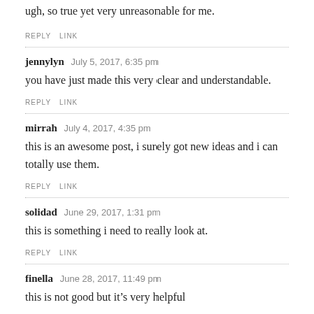ugh, so true yet very unreasonable for me.
REPLY   LINK
jennylyn  July 5, 2017, 6:35 pm
you have just made this very clear and understandable.
REPLY   LINK
mirrah  July 4, 2017, 4:35 pm
this is an awesome post, i surely got new ideas and i can totally use them.
REPLY   LINK
solidad  June 29, 2017, 1:31 pm
this is something i need to really look at.
REPLY   LINK
finella  June 28, 2017, 11:49 pm
this is not good but it’s very helpful
REPLY   LINK